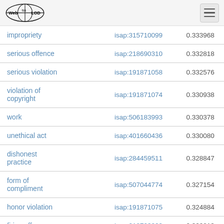WebIsaLOD
| term | id | score |
| --- | --- | --- |
| impropriety | isap:315710099 | 0.333968 |
| serious offence | isap:218690310 | 0.332818 |
| serious violation | isap:191871058 | 0.332576 |
| violation of copyright | isap:191871074 | 0.330938 |
| work | isap:506183993 | 0.330378 |
| unethical act | isap:401660436 | 0.330080 |
| dishonest practice | isap:284459511 | 0.328847 |
| form of compliment | isap:507044774 | 0.327154 |
| honor violation | isap:191871075 | 0.324884 |
| firing offense | isap:218703229 | 0.320813 |